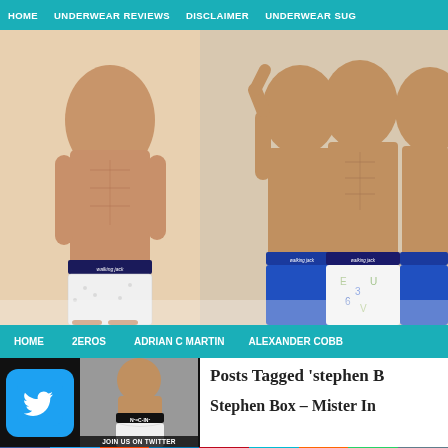HOME | UNDERWEAR REVIEWS | DISCLAIMER | UNDERWEAR SUGGESTIONS
[Figure (photo): Male models wearing underwear from Walking Jack brand — one model on left in white briefs, three models on right in blue and white boxers/trunks]
HOME | 2EROS | ADRIAN C MARTIN | ALEXANDER COBB
[Figure (photo): Twitter join button with male model wearing C-IN2 white brief underwear]
Posts Tagged 'stephen B
Stephen Box – Mister In
f | Twitter | Reddit | in | Pinterest | MW | Mix | WhatsApp | Share